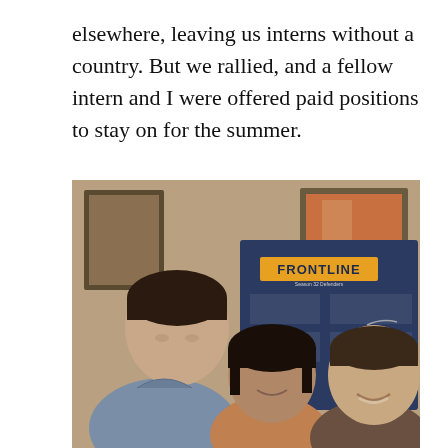elsewhere, leaving us interns without a country. But we rallied, and a fellow intern and I were offered paid positions to stay on for the summer.
[Figure (photo): Three young people smiling and posing together in front of a large blue FRONTLINE Season 32 Defenders poster/board. The man on the left wears a denim shirt, the woman in the center has dark hair, and the man on the right wears a plaid shirt. Framed artwork is visible on the wall behind them.]